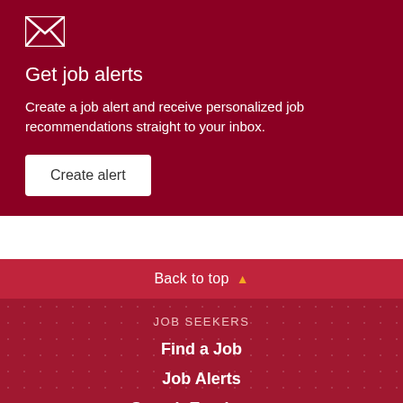[Figure (illustration): Envelope/mail icon in white on dark red background]
Get job alerts
Create a job alert and receive personalized job recommendations straight to your inbox.
Create alert
Back to top
JOB SEEKERS
Find a Job
Job Alerts
Search Employers